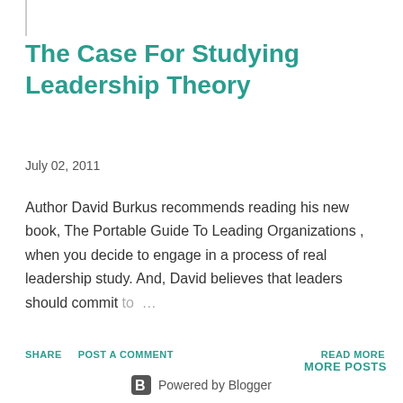The Case For Studying Leadership Theory
July 02, 2011
Author David Burkus recommends reading his new book, The Portable Guide To Leading Organizations , when you decide to engage in a process of real leadership study. And, David believes that leaders should commit to …
SHARE   POST A COMMENT   READ MORE
MORE POSTS
Powered by Blogger